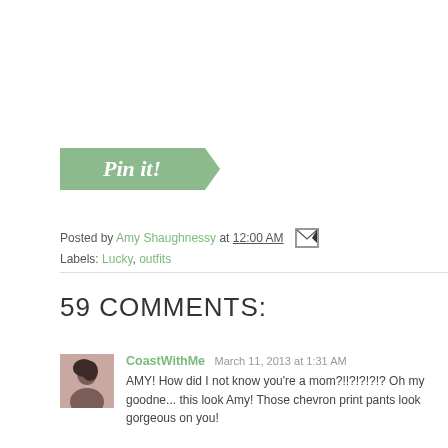[Figure (illustration): Green 'Pin it!' banner button with white italic script text and a triangular notch on the right side]
Posted by Amy Shaughnessy at 12:00 AM
Labels: Lucky, outfits
59 COMMENTS:
CoastWithMe  March 11, 2013 at 1:31 AM
AMY! How did I not know you're a mom?!!?!?!?!? Oh my goodne... this look Amy! Those chevron print pants look gorgeous on you!